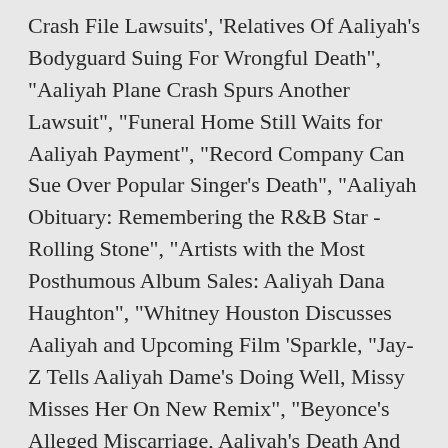Crash File Lawsuits', 'Relatives Of Aaliyah's Bodyguard Suing For Wrongful Death", "Aaliyah Plane Crash Spurs Another Lawsuit", "Funeral Home Still Waits for Aaliyah Payment", "Record Company Can Sue Over Popular Singer's Death", "Aaliyah Obituary: Remembering the R&B Star - Rolling Stone", "Artists with the Most Posthumous Album Sales: Aaliyah Dana Haughton", "Whitney Houston Discusses Aaliyah and Upcoming Film 'Sparkle, "Jay-Z Tells Aaliyah Dame's Doing Well, Missy Misses Her On New Remix", "Beyonce's Alleged Miscarriage, Aaliyah's Death And Other Insights Into Jay-Z's New Song, "Glory (Featuring B.I.C. It's a hard, sad day for everyone.' 26. [30], Aaliyah's family was staying at the Trump